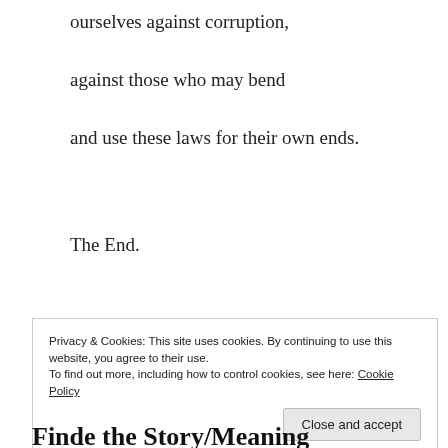ourselves against corruption,
against those who may bend
and use these laws for their own ends.
The End.
Privacy & Cookies: This site uses cookies. By continuing to use this website, you agree to their use.
To find out more, including how to control cookies, see here: Cookie Policy
Close and accept
Finde the Story/Meaning